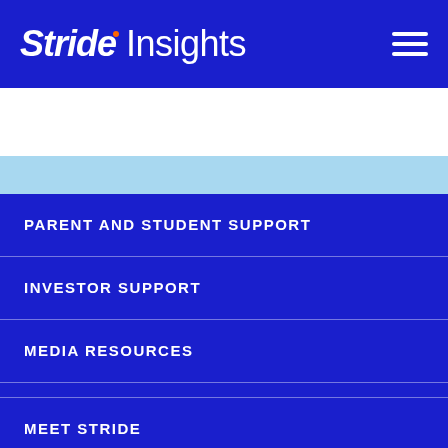Stride Insights
PARENT AND STUDENT SUPPORT
INVESTOR SUPPORT
MEDIA RESOURCES
LIFELONG SOLUTIONS
MEET STRIDE